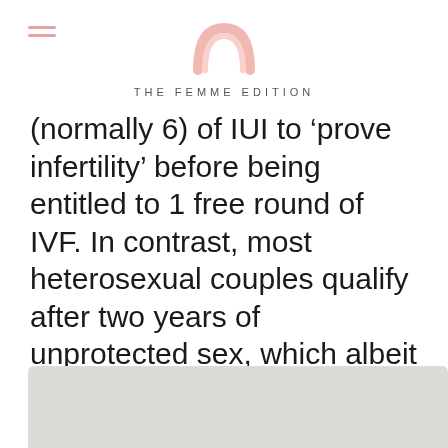THE FEMME EDITION
(normally 6) of IUI to 'prove infertility' before being entitled to 1 free round of IVF. In contrast, most heterosexual couples qualify after two years of unprotected sex, which albeit a long time, holds no additional financial cost.
[Figure (photo): Light grey/green background image at the bottom of the page, partially visible]